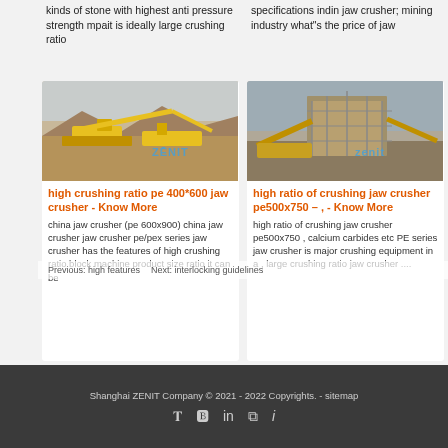kinds of stone with highest anti pressure strength mpait is ideally large crushing ratio
specifications indin jaw crusher; mining industry what"s the price of jaw
[Figure (photo): Industrial mining/crushing machinery with yellow equipment in a dry landscape, ZENIT logo watermark]
[Figure (photo): Mining crusher plant with scaffolding and industrial equipment, ZENIT logo watermark]
high crushing ratio pe 400*600 jaw crusher - Know More
high ratio of crushing jaw crusher pe500x750 – , - Know More
china jaw crusher (pe 600x900) china jaw crusher jaw crusher pe/pex series jaw crusher has the features of high crushing ratio block machine product size ratio it can be
high ratio of crushing jaw crusher pe500x750 , calcium carbides etc PE series jaw crusher is major crushing equipment in a , large crushing ratio jaw crusher ....
Previous: high features
Next: interlocking guidelines
Shanghai ZENIT Company © 2021 - 2022 Copyrights. - sitemap